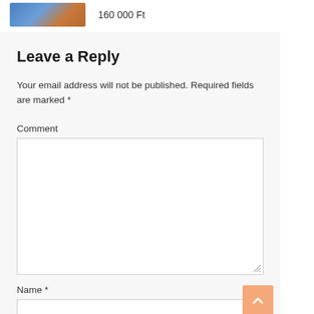[Figure (photo): Thumbnail image of a product or listing photo showing blue and brown tones]
160 000 Ft
Leave a Reply
Your email address will not be published. Required fields are marked *
Comment
Name *